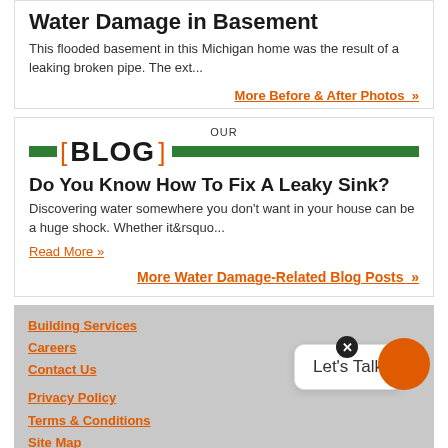Water Damage in Basement
This flooded basement in this Michigan home was the result of a leaking broken pipe. The ext...
More Before & After Photos »
OUR BLOG
Do You Know How To Fix A Leaky Sink?
Discovering water somewhere you don't want in your house can be a huge shock. Whether it&rsquo...
Read More »
More Water Damage-Related Blog Posts »
Building Services
Careers
Contact Us
Privacy Policy
Terms & Conditions
Site Map